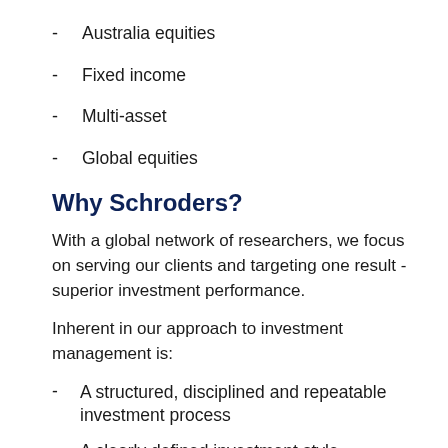Australia equities
Fixed income
Multi-asset
Global equities
Why Schroders?
With a global network of researchers, we focus on serving our clients and targeting one result - superior investment performance.
Inherent in our approach to investment management is:
A structured, disciplined and repeatable investment process
A clearly defined investment style
A transparent and consistent approach